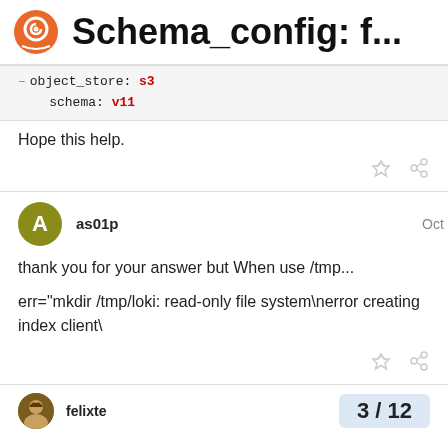Schema_config: f...
object_store: s3
schema: v11
Hope this help.
as01p  Oct '21
thank you for your answer but When use /tmp...
err="mkdir /tmp/loki: read-only file system\nerror creating index client\
felixte  3 / 12